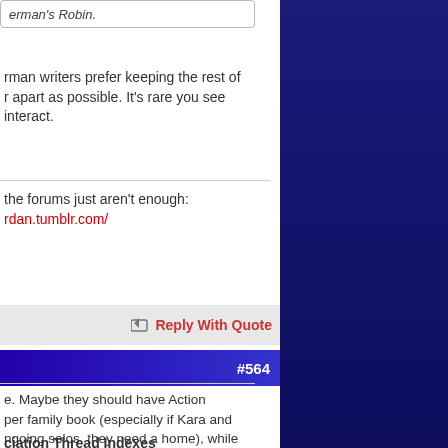erman's Robin.
rman writers prefer keeping the rest of r apart as possible. It's rare you see interact.
the forums just aren't enough:
rdan.tumblr.com/
Reply With Quote
#564
e. Maybe they should have Action per family book (especially if Kara and ngoing solos, they need a home), while the solo book? Jon's book has a othing stopping Son of Kal-El continuing nt Superman book relaunches.
ciation Thread Indexes